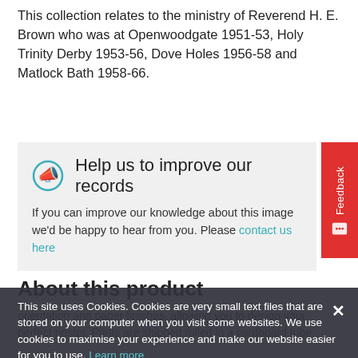This collection relates to the ministry of Reverend H. E. Brown who was at Openwoodgate 1951-53, Holy Trinity Derby 1953-56, Dove Holes 1956-58 and Matlock Bath 1958-66.
Help us to improve our records
If you can improve our knowledge about this image we'd be happy to hear from you. Please contact us here
About this product
This site uses Cookies. Cookies are very small text files that are stored on your computer when you visit some websites. We use cookies to maximise your experience and make our website easier for you to use. Learn more
orientation and paper finishes, allowing you to design your perfect poster. Prints are shipped rolled in a cardboard tube